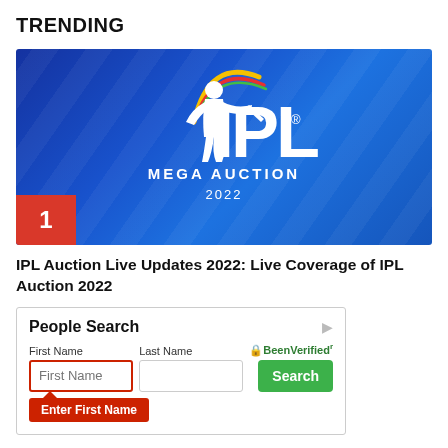TRENDING
[Figure (screenshot): IPL Mega Auction 2022 banner image on blue background with cricket player silhouette logo, text 'IPL MEGA AUCTION 2022', and a red badge with number 1 in the bottom-left corner.]
IPL Auction Live Updates 2022: Live Coverage of IPL Auction 2022
[Figure (screenshot): Advertisement widget for 'People Search' by BeenVerified. Contains fields for First Name and Last Name, a green Search button, and a red 'Enter First Name' tooltip error message below the First Name field which has a red border.]